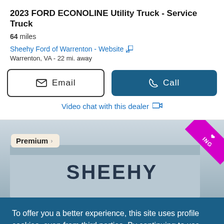2023 FORD ECONOLINE Utility Truck - Service Truck
64 miles
Sheehy Ford of Warrenton - Website
Warrenton, VA - 22 mi. away
Email
Call
Video chat with this dealer
[Figure (photo): Photo of Sheehy Ford dealership exterior with Premium badge and ribbon overlay]
To offer you a better experience, this site uses profile cookies, even from third parties. By continuing to use this website you consent to the use of cookies. For more information or to select your preferences consult our Privacy Policy
Cookie Settings   ✓ OK